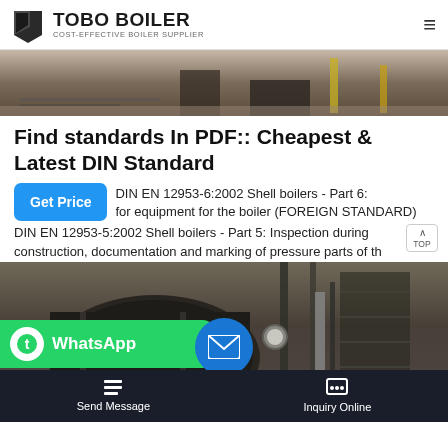TOBO BOILER — COST-EFFECTIVE BOILER SUPPLIER
[Figure (photo): Industrial boiler facility floor with equipment, yellow safety posts visible]
Find standards In PDF:: Cheapest & Latest DIN Standard
DIN EN 12953-6:2002 Shell boilers - Part 6: for equipment for the boiler (FOREIGN STANDARD)
DIN EN 12953-5:2002 Shell boilers - Part 5: Inspection during construction, documentation and marking of pressure parts of th
[Figure (photo): Industrial boiler unit with large cylindrical tank, pipes, gauges and metal staircase]
WhatsApp
Send Message
Inquiry Online